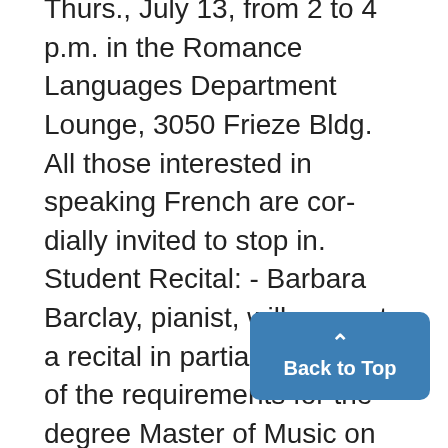Thurs., July 13, from 2 to 4 p.m. in the Romance Languages Department Lounge, 3050 Frieze Bldg. All those interested in speaking French are cordially invited to stop in. Student Recital: - Barbara Barclay, pianist, will present a recital in partial fulfillment of the requirements for the degree Master of Music on Thurs., July 13, 8:30 p.m., Aud. A. Compositions she will play are by Schumann, Schoenberg, and Beethoven. Open to the public.
Educational Film Preview: *"Think